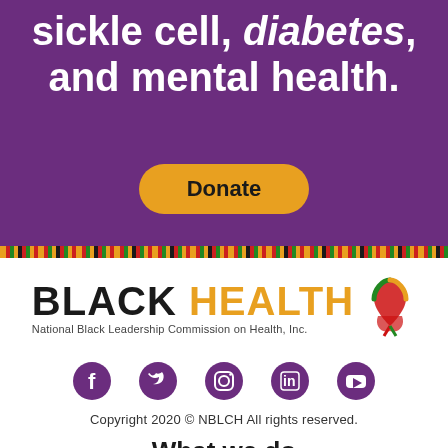sickle cell, diabetes, and mental health.
[Figure (other): Donate button — gold rounded rectangle with bold text 'Donate']
[Figure (other): Kente cloth decorative strip divider in red, green, yellow, black pattern]
[Figure (logo): BLACK HEALTH logo with National Black Leadership Commission on Health, Inc. and a red-green-yellow awareness ribbon]
[Figure (other): Social media icons: Facebook, Twitter, Instagram, LinkedIn, YouTube — all in purple]
Copyright 2020 © NBLCH All rights reserved.
What we do
Resources